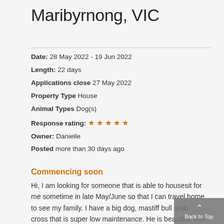Maribyrnong, VIC
Date: 28 May 2022 - 19 Jun 2022
Length: 22 days
Applications close 27 May 2022
Property Type House
Animal Types Dog(s)
Response rating: ★★★★★
Owner: Danielle
Posted more than 30 days ago
Commencing soon
Hi, I am looking for someone that is able to housesit for me sometime in late May/June so that I can travel home to see my family. I have a big dog, mastiff bull arab cross that is super low maintenance. He is beautiful with people and kids but not good with other dogs or animals.